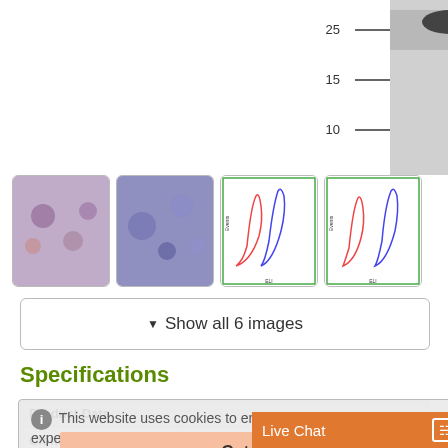[Figure (photo): Western blot image showing bands at 25, 15, and 10 kDa markers with a dark band visible near 25 kDa]
[Figure (photo): IHC thumbnail image 1 - tissue section with brown staining]
[Figure (photo): IHC thumbnail image 2 - tissue section with blue staining]
[Figure (continuous-plot): Flow cytometry histogram thumbnail 1 - blue and red curves]
[Figure (continuous-plot): Flow cytometry histogram thumbnail 2 - blue and red curves]
▾ Show all 6 images
Specifications
| Product Data |  |
| --- | --- |
| Clone Name | OTI3B3 |
| Applications | FC, IHC, WB |
| Recommended |  |